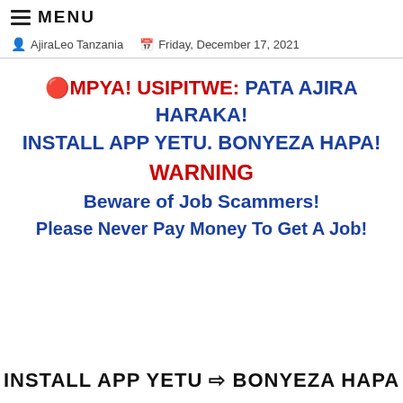≡ MENU
AjiraLeo Tanzania   Friday, December 17, 2021
🔴MPYA! USIPITWE: PATA AJIRA HARAKA! INSTALL APP YETU. BONYEZA HAPA! WARNING Beware of Job Scammers! Please Never Pay Money To Get A Job!
INSTALL APP YETU ⇒ BONYEZA HAPA